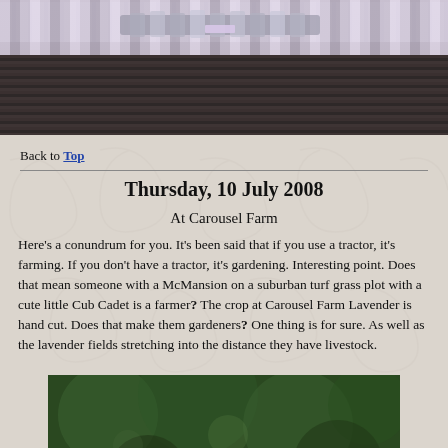[Figure (photo): Top portion of a photo showing woven lavender bundles with purple ribbon on a dark wood surface]
Back to Top
Thursday, 10 July 2008
At Carousel Farm
Here's a conundrum for you. It's been said that if you use a tractor, it's farming. If you don't have a tractor, it's gardening. Interesting point. Does that mean someone with a McMansion on a suburban turf grass plot with a cute little Cub Cadet is a farmer? The crop at Carousel Farm Lavender is hand cut. Does that make them gardeners? One thing is for sure. As well as the lavender fields stretching into the distance they have livestock.
[Figure (photo): Bottom photo showing blurred green foliage with BelleWood Gardens watermark]